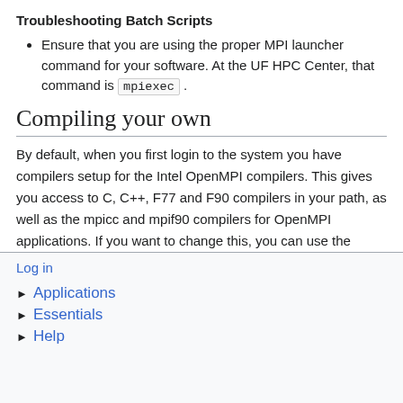Troubleshooting Batch Scripts
Ensure that you are using the proper MPI launcher command for your software. At the UF HPC Center, that command is mpiexec .
Compiling your own
By default, when you first login to the system you have compilers setup for the Intel OpenMPI compilers. This gives you access to C, C++, F77 and F90 compilers in your path, as well as the mpicc and mpif90 compilers for OpenMPI applications. If you want to change this, you can use the modules system to select a different compiler suite and MPI implementation.
Log in
► Applications
► Essentials
► Help